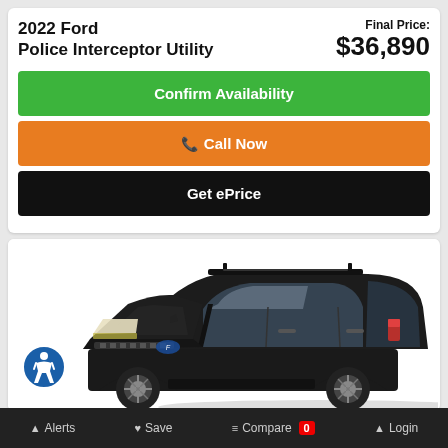2022 Ford Police Interceptor Utility
Final Price: $36,890
Confirm Availability
Call Now
Get ePrice
[Figure (photo): Black 2022 Ford Police Interceptor Utility SUV, three-quarter front view on white background]
Alerts  Save  Compare 0  Login